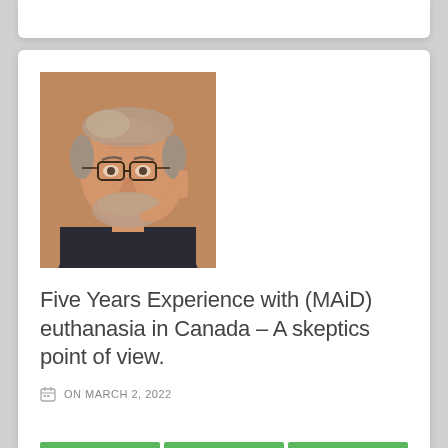[Figure (photo): Headshot of a middle-aged to older man with glasses, gray beard and thinning gray hair, wearing a dark jacket, pointing a finger toward the viewer, against a warm brownish background.]
Five Years Experience with (MAiD) euthanasia in Canada – A skeptics point of view.
ON MARCH 2, 2022